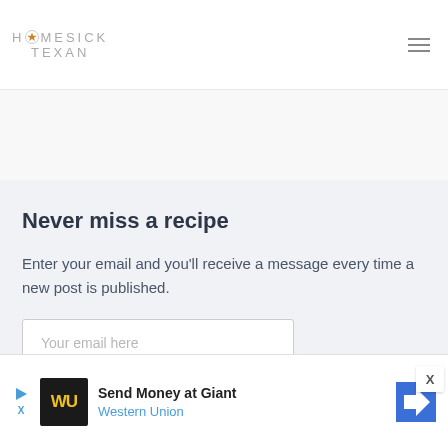HOMESICK TEXAN
Never miss a recipe
Enter your email and you'll receive a message every time a new post is published.
Your email here
[Figure (screenshot): Advertisement banner: Send Money at Giant – Western Union]
Send Money at Giant Western Union